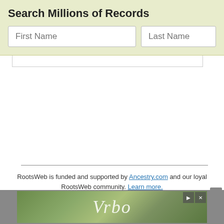Search Millions of Records
[Figure (screenshot): Search form with First Name and Last Name input fields on a light yellow-green background]
RootsWeb is funded and supported by Ancestry.com and our loyal RootsWeb community. Learn more.
About Us | Contact Us | Rootsweb Blog | Copyright
© 1997-2022 Ancestry  Corporate Information  Privacy  Terms and Conditions  CCPA Notice at Collection
[Figure (photo): Vrbo advertisement banner with outdoor/nature background and Vrbo logo text]